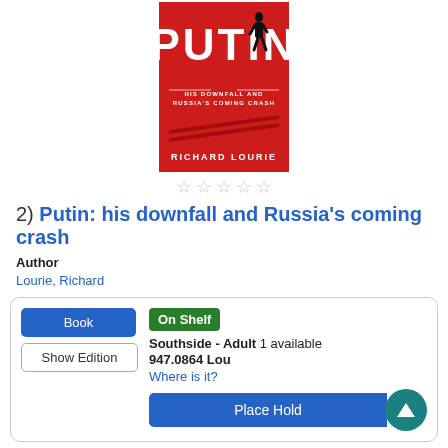[Figure (illustration): Book cover for 'Putin: His Downfall and Russia's Coming Crash' by Richard Lourie. Red background with large white PUTIN text and silhouette of man walking.]
☆☆☆☆☆
2) Putin: his downfall and Russia's coming crash
Author
Lourie, Richard
Book
Show Edition
On Shelf
Southside - Adult  1 available
947.0864 Lou
Where is it?
Place Hold
Description
Read Description